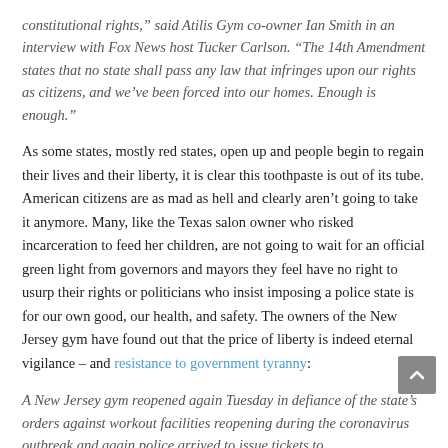constitutional rights," said Atilis Gym co-owner Ian Smith in an interview with Fox News host Tucker Carlson. “The 14th Amendment states that no state shall pass any law that infringes upon our rights as citizens, and we’ve been forced into our homes. Enough is enough.”
As some states, mostly red states, open up and people begin to regain their lives and their liberty, it is clear this toothpaste is out of its tube. American citizens are as mad as hell and clearly aren’t going to take it anymore. Many, like the Texas salon owner who risked incarceration to feed her children, are not going to wait for an official green light from governors and mayors they feel have no right to usurp their rights or politicians who insist imposing a police state is for our own good, our health, and safety. The owners of the New Jersey gym have found out that the price of liberty is indeed eternal vigilance – and resistance to government tyranny:
A New Jersey gym reopened again Tuesday in defiance of the state’s orders against workout facilities reopening during the coronavirus outbreak and again police arrived to issue tickets to